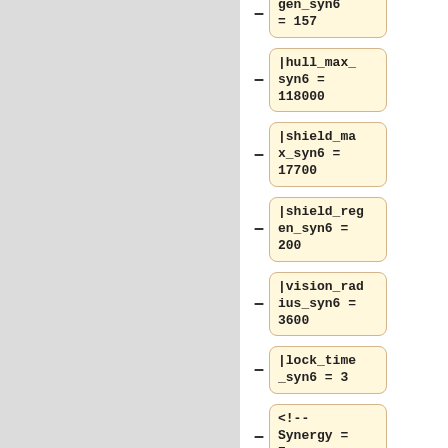|gen_syn6 = 157
|hull_max_syn6 = 118000
|shield_max_syn6 = 17700
|shield_regen_syn6 = 200
|vision_radius_syn6 = 3600
|lock_time_syn6 = 3
<!-- Synergy = 7 -->
|synLevel_syn7 = 7